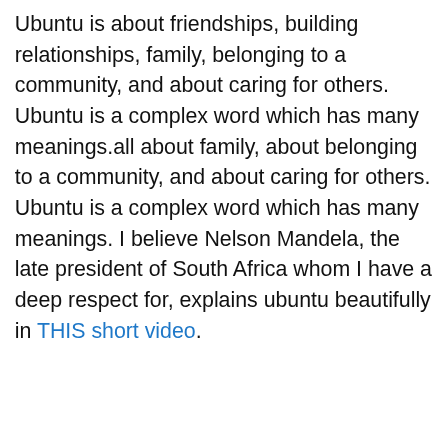Ubuntu is about friendships, building relationships, family, belonging to a community, and about caring for others. Ubuntu is a complex word which has many meanings.all about family, about belonging to a community, and about caring for others. Ubuntu is a complex word which has many meanings. I believe Nelson Mandela, the late president of South Africa whom I have a deep respect for, explains ubuntu beautifully in THIS short video.
Advertisements
[Figure (other): Advertisement banner with text 'Business in the front...' on a light peach/salmon background with an orange-to-pink gradient stripe at the bottom, and a close button (X) on the right.]
Advertisements
[Figure (other): Seamless food delivery advertisement on dark background showing pizza image on left, red Seamless badge in center, and 'ORDER NOW' button on right.]